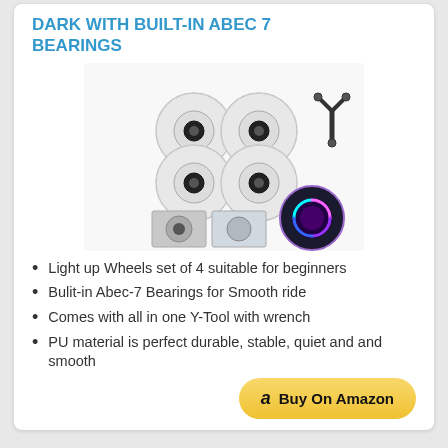DARK WITH BUILT-IN ABEC 7 BEARINGS
[Figure (photo): Product photo showing four clear skateboard/rollerblade wheels with black ABEC-7 bearings, a Y-shaped tool/wrench, two small inset photos of wheel detail, and a circular inset photo showing wheels glowing with colorful LED light.]
Light up Wheels set of 4 suitable for beginners
Bulit-in Abec-7 Bearings for Smooth ride
Comes with all in one Y-Tool with wrench
PU material is perfect durable, stable, quiet and and smooth